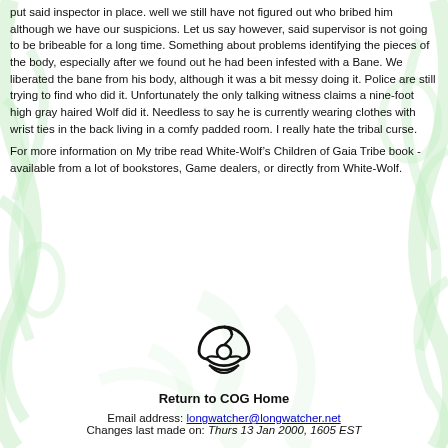put said inspector in place. well we still have not figured out who bribed him although we have our suspicions. Let us say however, said supervisor is not going to be bribeable for a long time. Something about problems identifying the pieces of the body, especially after we found out he had been infested with a Bane. We liberated the bane from his body, although it was a bit messy doing it. Police are still trying to find who did it. Unfortunately the only talking witness claims a nine-foot high gray haired Wolf did it. Needless to say he is currently wearing clothes with wrist ties in the back living in a comfy padded room. I really hate the tribal curse.
For more information on My tribe read White-Wolf’s Children of Gaia Tribe book - available from a lot of bookstores, Game dealers, or directly from White-Wolf.
[Figure (logo): COG biohazard-style circular logo icon in black]
Return to COG Home
Email address: longwatcher@longwatcher.net
Changes last made on: Thurs 13 Jan 2000, 1605 EST